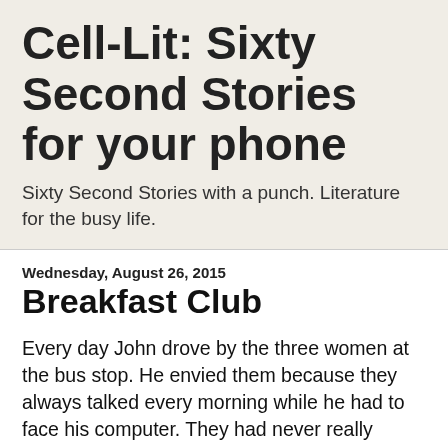Cell-Lit: Sixty Second Stories for your phone
Sixty Second Stories with a punch. Literature for the busy life.
Wednesday, August 26, 2015
Breakfast Club
Every day John drove by the three women at the bus stop. He envied them because they always talked every morning while he had to face his computer. They had never really spoke except the one woman Beth. The other two had just moved in and he would pass and wave with his daughter every morning on the way to school. He began to think about saying something.
In truth he wouldn't mind being part of their breakfast club. He needed the interaction. He was the lonely writer in the